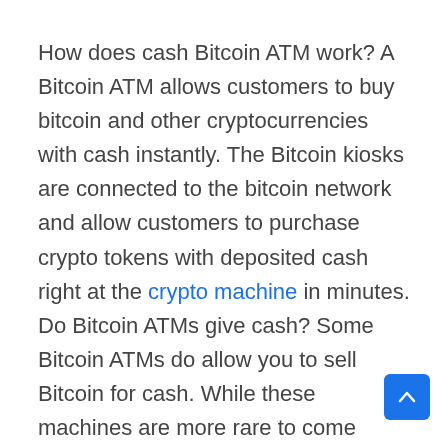How does cash Bitcoin ATM work? A Bitcoin ATM allows customers to buy bitcoin and other cryptocurrencies with cash instantly. The Bitcoin kiosks are connected to the bitcoin network and allow customers to purchase crypto tokens with deposited cash right at the crypto machine in minutes. Do Bitcoin ATMs give cash? Some Bitcoin ATMs do allow you to sell Bitcoin for cash. While these machines are more rare to come across, some do allow you to withdraw cash from the Bitcoin machine. Do you need ID for a Bitcoin ATM? No. Bitcoin ATMs don't require additional identification besides a phone number for purchases up to $2000. If you are looking to purchase a greater amount, additional verification such as ID will be required at the Bitcoin machine. How do I deposit money into a Bitcoin ATM? Here's the general process at most Bitcoin ATMs: Verify your identity inputting your phone number or other identification. Provide your bitcoin address for deposit. Insert your fiat money into